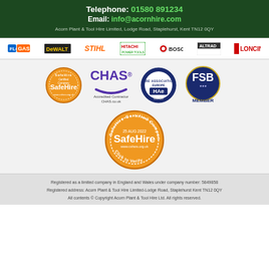Telephone: 01580 891234
Email: info@acornhire.com
Acorn Plant & Tool Hire Limited, Lodge Road, Staplehurst, Kent TN12 0QY
[Figure (logo): Brand logos row: FLO GAS, DeWalt, STIHL, HITACHI Power Tools, BOSCH, ALTRAD, LONCIN]
[Figure (logo): Certification badges: SafeHire Certified Company, CHAS Accredited Contractor, HAe Hire Association Europe Member, FSB Member]
[Figure (logo): Large SafeHire Certified Company badge - Click to Verify, dated 25 Aug 2022]
Registered as a limited company in England and Wales under company number: 5849858
Registered address: Acorn Plant & Tool Hire Limited-Lodge Road, Staplehurst Kent TN12 0QY
All contents © Copyright Acorn Plant & Tool Hire Ltd. All rights reserved.